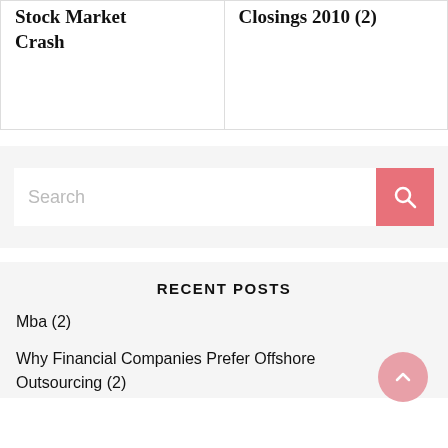Stock Market Crash
Closings 2010 (2)
Search
RECENT POSTS
Mba (2)
Why Financial Companies Prefer Offshore Outsourcing (2)